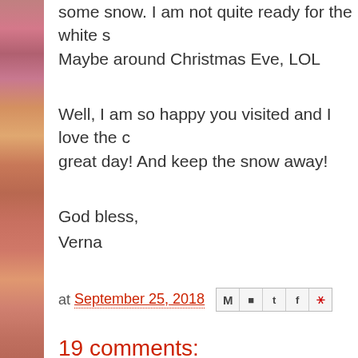some snow. I am not quite ready for the white s... Maybe around Christmas Eve, LOL
Well, I am so happy you visited and I love the c... great day! And keep the snow away!
God bless,
Verna
at September 25, 2018
19 comments:
Barb said...
What a cute card this is Verna. I really like